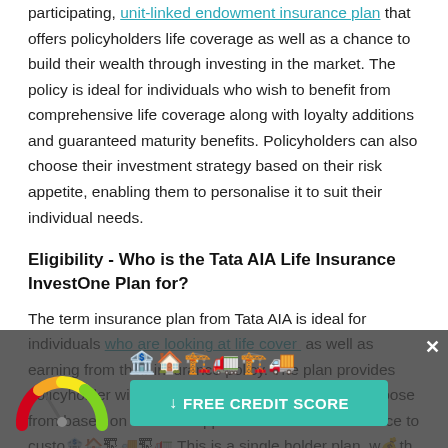participating, unit-linked endowment insurance plan that offers policyholders life coverage as well as a chance to build their wealth through investing in the market. The policy is ideal for individuals who wish to benefit from comprehensive life coverage along with loyalty additions and guaranteed maturity benefits. Policyholders can also choose their investment strategy based on their risk appetite, enabling them to personalise it to suit their individual needs.
Eligibility - Who is the Tata AIA Life Insurance InvestOne Plan for?
The term insurance plan from Tata AIA is ideal for individuals who are looking at life cover as well as earning from their insurance policy. The plan provides policyholder with a choice of investment funds to choose from based on their risk appetite as well as the chance to customise the plan. This is a single holder plan, with the life insurance cover for the policyholder only. While the policy is open to all Indian residents, there are
[Figure (infographic): A dark overlay banner at the bottom of the page containing a credit score gauge widget on the left (red-to-green semicircular meter), emoji icons for buildings/vehicles, and a teal 'FREE CREDIT SCORE' button. An X close button is in the top right of the overlay.]